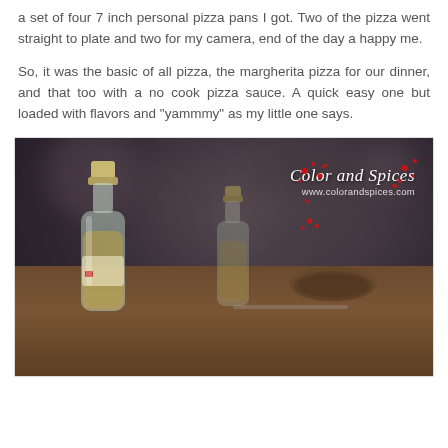a set of four 7 inch personal pizza pans I got. Two of the pizza went straight to plate and two for my camera, end of the day a happy me.
So, it was the basic of all pizza, the margherita pizza for our dinner, and that too with a no cook pizza sauce. A quick easy one but loaded with flavors and "yammmy" as my little one says.
[Figure (photo): A food photography image showing kitchen ingredients on a wooden surface. A glass bottle of oil is in focus in the foreground left, with other blurred bottles and a bowl in the background. The image has a dark moody bokeh background. A watermark reads 'Color and Spices' with 'www.colorandspices.com' in the upper right corner, with red decorative splatters around it.]